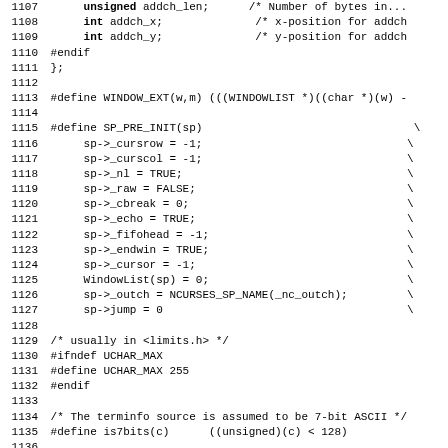[Figure (other): Source code listing in C, lines 1107-1139, showing struct members, preprocessor macros including WINDOW_EXT, SP_PRE_INIT, UCHAR_MAX, is7bits, is8bits, and comments.]